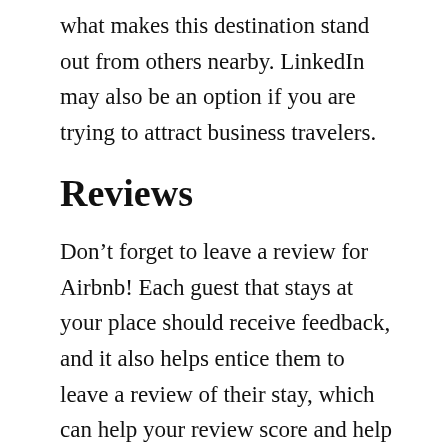what makes this destination stand out from others nearby. LinkedIn may also be an option if you are trying to attract business travelers.
Reviews
Don’t forget to leave a review for Airbnb! Each guest that stays at your place should receive feedback, and it also helps entice them to leave a review of their stay, which can help your review score and help you reach Superhost status.
Automate your listing